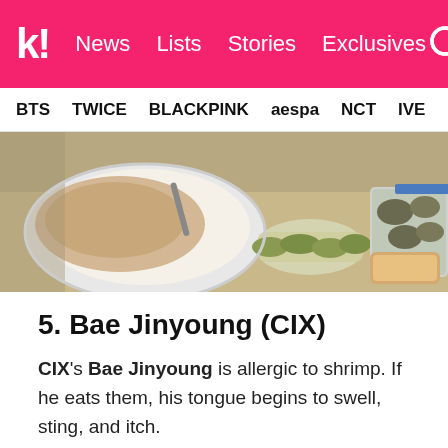k! News Lists Stories Exclusives
BTS TWICE BLACKPINK aespa NCT IVE SHIN
[Figure (photo): Overhead photo of Korean food including a bowl of rice/stew, pickled vegetables, and oysters in a tray]
5. Bae Jinyoung (CIX)
CIX's Bae Jinyoung is allergic to shrimp. If he eats them, his tongue begins to swell, sting, and itch.
[Figure (photo): Top of a person's head with blonde hair, partially visible]